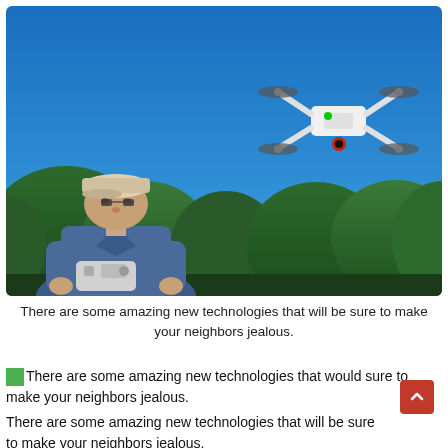[Figure (photo): An elderly man in a denim jacket and white cap operating a drone (quadcopter with camera) flying in a clear blue sky with green trees in the background.]
There are some amazing new technologies that will be sure to make your neighbors jealous.
There are some amazing new technologies that would sure to make your neighbors jealous. There are some amazing new technologies that will be sure to make your neighbors jealous.